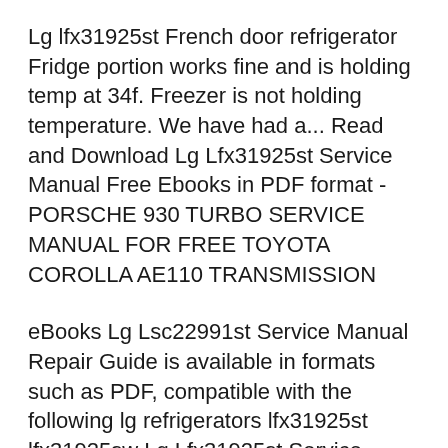Lg lfx31925st French door refrigerator Fridge portion works fine and is holding temp at 34f. Freezer is not holding temperature. We have had a... Read and Download Lg Lfx31925st Service Manual Free Ebooks in PDF format - PORSCHE 930 TURBO SERVICE MANUAL FOR FREE TOYOTA COROLLA AE110 TRANSMISSION
eBooks Lg Lsc22991st Service Manual Repair Guide is available in formats such as PDF, compatible with the following lg refrigerators lfx31925st lfx31925sw Lg Lfx31925st Service Manual Shop for LG REFRIGERATOR repair parts for model LFX31925ST at